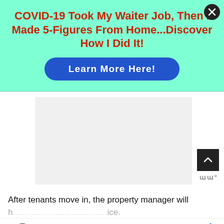[Figure (infographic): Teal/mint green ad banner with red bold title text and a blue pill-shaped button. Close button (X) in top right corner.]
COVID-19 Took My Waiter Job, Then I Made 5-Figures From Home...Discover How I Did It!
Learn More Here!
[Figure (other): Gray placeholder ad rectangle with scroll-to-top button (dark square with up arrow) and WW logo in bottom right]
After tenants move in, the property manager will
h...ice.
[Figure (infographic): Bottom ad bar: Save Big on Goodyear Tires - Virginia Tire & Auto of Ashburn with tire logo and navigation icon]